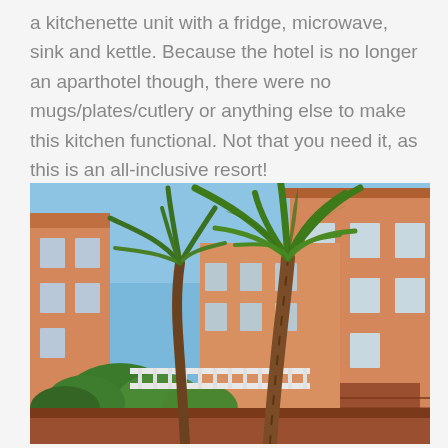a kitchenette unit with a fridge, microwave, sink and kettle. Because the hotel is no longer an aparthotel though, there were no mugs/plates/cutlery or anything else to make this kitchen functional. Not that you need it, as this is an all-inclusive resort!
[Figure (photo): Outdoor photo of an all-inclusive resort courtyard showing two tall palm trees in the foreground, orange/peach coloured multi-storey hotel buildings in the background, green shrubs and bushes below, under a clear blue sky.]